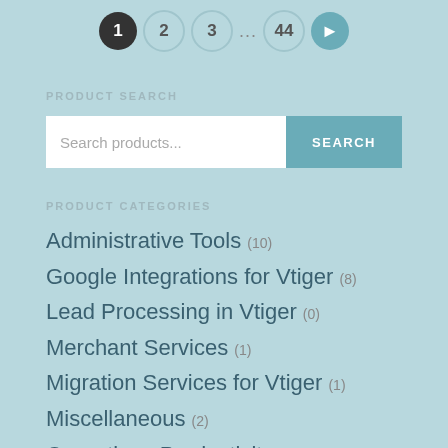Pagination: 1 2 3 ... 44 >
PRODUCT SEARCH
Search products...
PRODUCT CATEGORIES
Administrative Tools (10)
Google Integrations for Vtiger (8)
Lead Processing in Vtiger (0)
Merchant Services (1)
Migration Services for Vtiger (1)
Miscellaneous (2)
Operations Productivity (31)